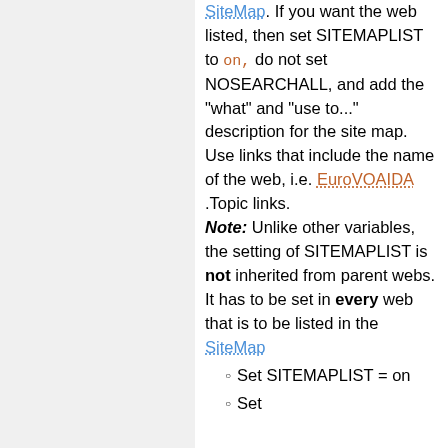SiteMap. If you want the web listed, then set SITEMAPLIST to on, do not set NOSEARCHALL, and add the "what" and "use to..." description for the site map. Use links that include the name of the web, i.e. EuroVOAIDA .Topic links. Note: Unlike other variables, the setting of SITEMAPLIST is not inherited from parent webs. It has to be set in every web that is to be listed in the SiteMap
Set SITEMAPLIST = on
Set